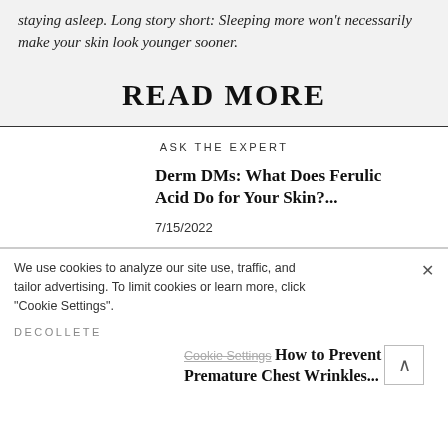staying asleep. Long story short: Sleeping more won't necessarily make your skin look younger sooner.
READ MORE
ASK THE EXPERT
Derm DMs: What Does Ferulic Acid Do for Your Skin?...
7/15/2022
We use cookies to analyze our site use, traffic, and tailor advertising. To limit cookies or learn more, click "Cookie Settings".
DECOLLETE
Cookie Settings
How to Prevent Premature Chest Wrinkles...